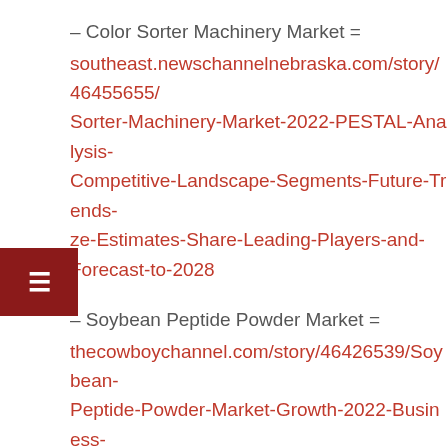– Color Sorter Machinery Market = southeast.newschannelnebraska.com/story/46455655/Sorter-Machinery-Market-2022-PESTAL-Analysis-Competitive-Landscape-Segments-Future-Trends-ze-Estimates-Share-Leading-Players-and-Forecast-to-2028
– Soybean Peptide Powder Market = thecowboychannel.com/story/46426539/Soybean-Peptide-Powder-Market-Growth-2022-Business-Overview-Industry-Share-Size-Consumption-Analysis-Future-Trends-Top-Key-Manufacturers-Demands-and-Forecast-to-2029-
– Nasal Spray Bottles Market = thecowboychannel.com/story/46558085/Nasal-